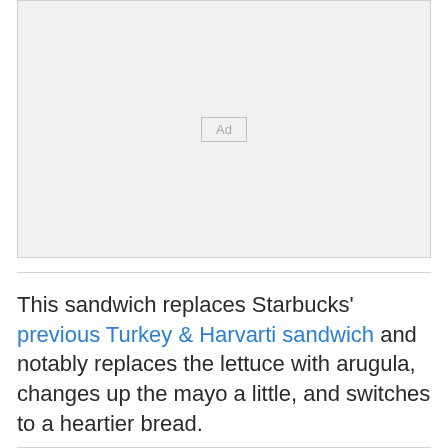[Figure (other): Advertisement placeholder box with 'Ad' label in center]
This sandwich replaces Starbucks' previous Turkey & Harvarti sandwich and notably replaces the lettuce with arugula, changes up the mayo a little, and switches to a heartier bread.